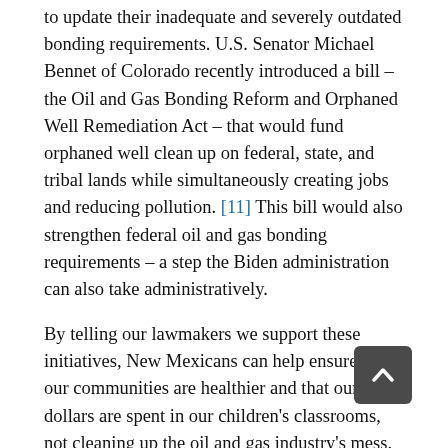to update their inadequate and severely outdated bonding requirements. U.S. Senator Michael Bennet of Colorado recently introduced a bill – the Oil and Gas Bonding Reform and Orphaned Well Remediation Act – that would fund orphaned well clean up on federal, state, and tribal lands while simultaneously creating jobs and reducing pollution. [11] This bill would also strengthen federal oil and gas bonding requirements – a step the Biden administration can also take administratively.
By telling our lawmakers we support these initiatives, New Mexicans can help ensure that our communities are healthier and that our tax dollars are spent in our children's classrooms, not cleaning up the oil and gas industry's mess.
Endnotes
[1] "Bonding Requirements and Abandoned Wells," NM State Land Office presentation to the Water and Natural Resources Committee,